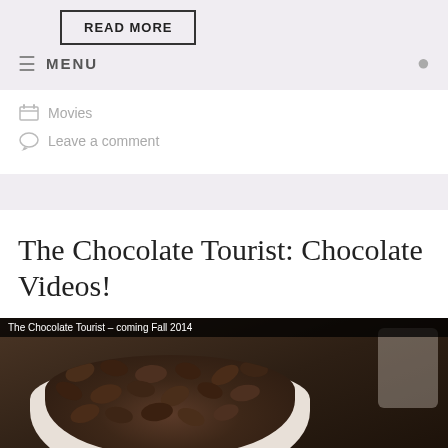READ MORE | MENU
Movies
Leave a comment
The Chocolate Tourist: Chocolate Videos!
[Figure (screenshot): Video thumbnail showing a white bowl filled with cocoa beans, with text overlay 'The Chocolate Tourist – coming Fall 2014' at the top, and a red banner at the bottom reading 'FROM BEANS TO BARS']